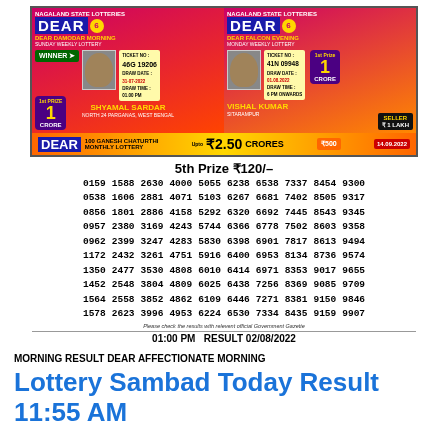[Figure (other): Nagaland State Lotteries 'Dear' lottery advertisement banner showing two winners: Shyamal Sardar (Dear Damodar Morning) and Vishal Kumar (Dear Falcon Evening), with 1 Crore 1st prize, ticket numbers, draw dates. Bottom strip shows Dear Ganesh Chaturthi Monthly Lottery with 2.50 Crores prize.]
5th Prize ₹120/-
| 0159 | 1588 | 2630 | 4000 | 5055 | 6238 | 6538 | 7337 | 8454 | 9300 |
| 0538 | 1606 | 2881 | 4071 | 5103 | 6267 | 6681 | 7402 | 8505 | 9317 |
| 0856 | 1801 | 2886 | 4158 | 5292 | 6320 | 6692 | 7445 | 8543 | 9345 |
| 0957 | 2380 | 3169 | 4243 | 5744 | 6366 | 6778 | 7502 | 8603 | 9358 |
| 0962 | 2399 | 3247 | 4283 | 5830 | 6398 | 6901 | 7817 | 8613 | 9494 |
| 1172 | 2432 | 3261 | 4751 | 5916 | 6400 | 6953 | 8134 | 8736 | 9574 |
| 1350 | 2477 | 3530 | 4808 | 6010 | 6414 | 6971 | 8353 | 9017 | 9655 |
| 1452 | 2548 | 3804 | 4809 | 6025 | 6438 | 7256 | 8369 | 9085 | 9709 |
| 1564 | 2558 | 3852 | 4862 | 6109 | 6446 | 7271 | 8381 | 9150 | 9846 |
| 1578 | 2623 | 3996 | 4953 | 6224 | 6530 | 7334 | 8435 | 9159 | 9907 |
Please check the results with relevent official Government Gazette
01:00 PM   RESULT 02/08/2022
MORNING RESULT DEAR AFFECTIONATE MORNING
Lottery Sambad Today Result 11:55 AM